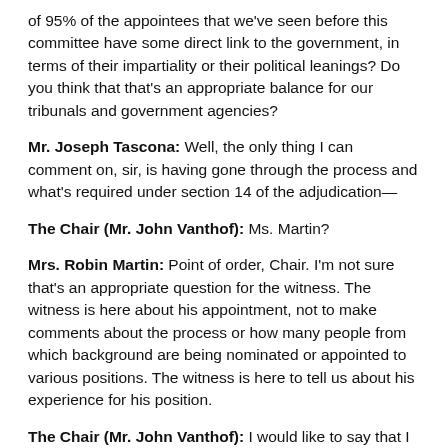of 95% of the appointees that we've seen before this committee have some direct link to the government, in terms of their impartiality or their political leanings? Do you think that that's an appropriate balance for our tribunals and government agencies?
Mr. Joseph Tascona: Well, the only thing I can comment on, sir, is having gone through the process and what's required under section 14 of the adjudication—
The Chair (Mr. John Vanthof): Ms. Martin?
Mrs. Robin Martin: Point of order, Chair. I'm not sure that's an appropriate question for the witness. The witness is here about his appointment, not to make comments about the process or how many people from which background are being nominated or appointed to various positions. The witness is here to tell us about his experience for his position.
The Chair (Mr. John Vanthof): I would like to say that I